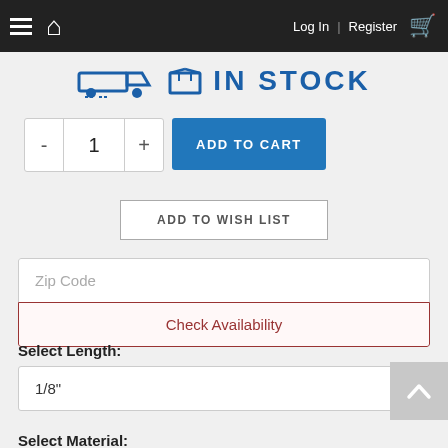Log In | Register
[Figure (screenshot): IN STOCK banner with truck and box icons]
- 1 +
ADD TO CART
ADD TO WISH LIST
Zip Code
Check Availability
Select Length:
1/8"
Select Material: